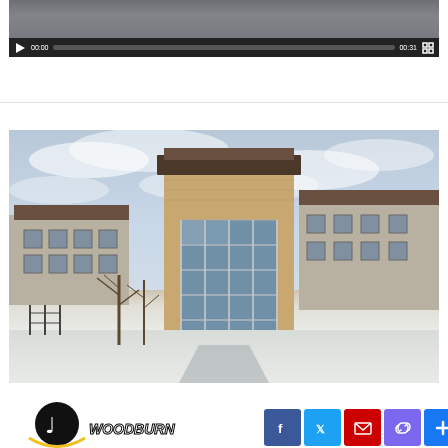[Figure (screenshot): Video player showing a video at 00:00 with duration 00:31, dark controls bar with play button, progress bar, and fullscreen button]
[Figure (photo): Exterior photograph of a school building in winter/snow, showing a brick facade with large glass windows and curtain wall entry, overcast sky]
[Figure (logo): Woodburn (school) logo with musical note graphic and stylized text 'WOODBURN' with social media share buttons for Facebook, Twitter, Email, Copy Link, and Share]